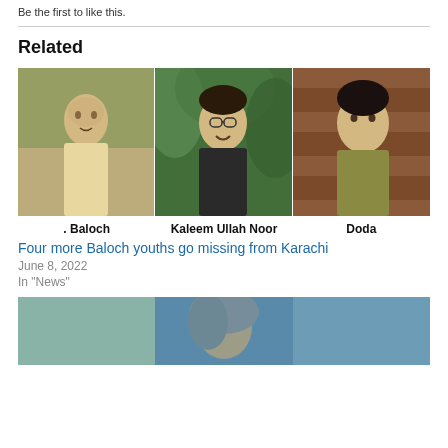Be the first to like this.
Related
[Figure (photo): Three photos side by side of young men: Baloch, Kaleem Ullah Noor, Doda]
. Baloch   Kaleem Ullah Noor   Doda
Four more Baloch youths go missing from Karachi
June 8, 2022
In "News"
[Figure (photo): Partial image of a person visible at the bottom of the page]